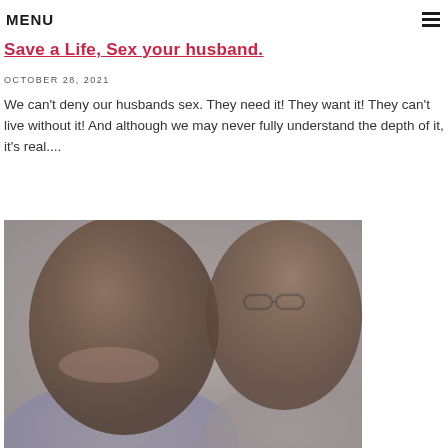MENU
Save a Life, Sex your husband.
OCTOBER 28, 2021
We can't deny our husbands sex. They need it! They want it! They can't live without it! And although we may never fully understand the depth of it, it's real....
[Figure (photo): A smiling woman and a man wearing glasses in a close-up selfie photo, presented in muted/faded tones.]